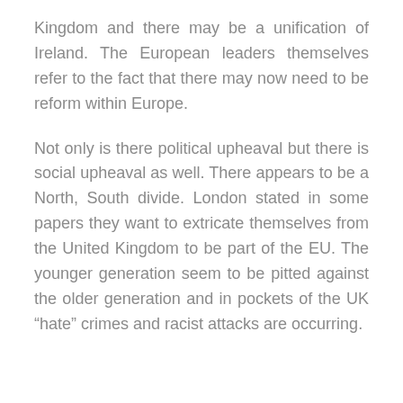Kingdom and there may be a unification of Ireland. The European leaders themselves refer to the fact that there may now need to be reform within Europe.
Not only is there political upheaval but there is social upheaval as well. There appears to be a North, South divide. London stated in some papers they want to extricate themselves from the United Kingdom to be part of the EU. The younger generation seem to be pitted against the older generation and in pockets of the UK “hate” crimes and racist attacks are occurring.